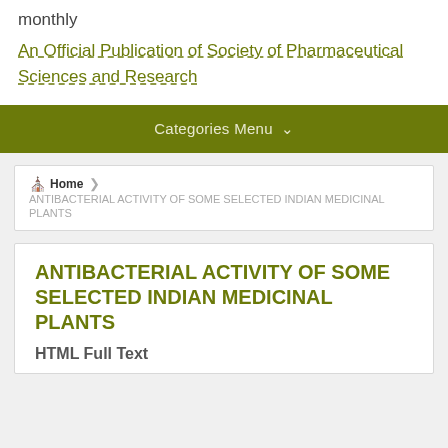monthly
An Official Publication of Society of Pharmaceutical Sciences and Research
Categories Menu ▾
Home > ANTIBACTERIAL ACTIVITY OF SOME SELECTED INDIAN MEDICINAL PLANTS
ANTIBACTERIAL ACTIVITY OF SOME SELECTED INDIAN MEDICINAL PLANTS
HTML Full Text